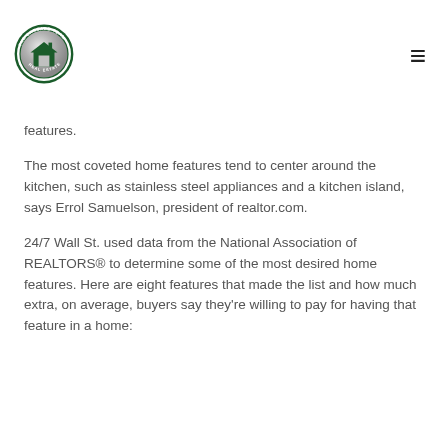The Cascade Team Real Estate logo and navigation
features.
The most coveted home features tend to center around the kitchen, such as stainless steel appliances and a kitchen island, says Errol Samuelson, president of realtor.com.
24/7 Wall St. used data from the National Association of REALTORS® to determine some of the most desired home features. Here are eight features that made the list and how much extra, on average, buyers say they're willing to pay for having that feature in a home: